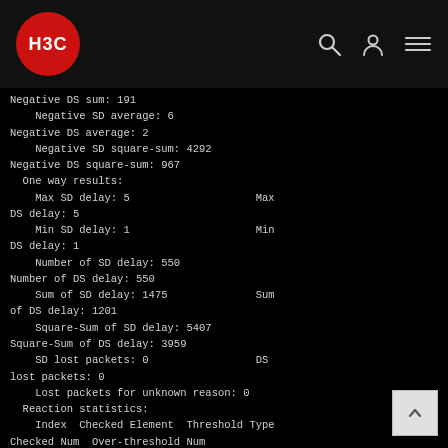H3C
Negative DS sum: 191
    Negative SD average: 6
Negative DS average: 2
    Negative SD square-sum: 4292
Negative DS square-sum: 967
  One way results:
    Max SD delay: 5                    Max DS delay: 5
    Min SD delay: 1                    Min DS delay: 1
    Number of SD delay: 550
Number of DS delay: 550
    Sum of SD delay: 1475              Sum of DS delay: 1201
    Square-Sum of SD delay: 5407
Square-Sum of DS delay: 3959
    SD lost packets: 0                 DS lost packets: 0
    Lost packets for unknown reason: 0
  Reaction statistics:
    Index  Checked Element  Threshold Type
Checked Num  Over-threshold Num